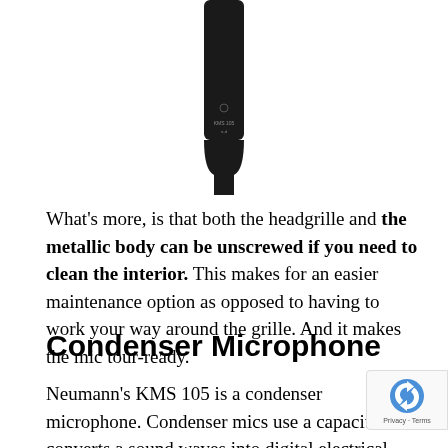[Figure (photo): Bottom portion of a black Neumann KMS 105 condenser microphone, showing the lower body and handle against a white background.]
What's more, is that both the headgrille and the metallic body can be unscrewed if you need to clean the interior. This makes for an easier maintenance option as opposed to having to work your way around the grille. And it makes the mic tour-ready.
Condenser Microphone
Neumann's KMS 105 is a condenser microphone. Condenser mics use a capacitor that converts a sound waves into digital electrical signals. Thes signals can transmit over long distances